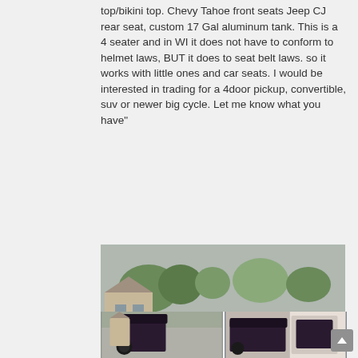top/bikini top. Chevy Tahoe front seats Jeep CJ rear seat, custom 17 Gal aluminum tank. This is a 4 seater and in WI it does not have to conform to helmet laws, BUT it does to seat belt laws. so it works with little ones and car seats. I would be interested in trading for a 4door pickup, convertible, suv or newer big cycle. Let me know what you have"
[Figure (photo): Dark purple/black custom trike or motorcycle-based vehicle with a Jeep CJ body, parked in a driveway. The vehicle has a large front motorcycle wheel, a Jeep body with soft top, and rear seats visible through open side. Suburban neighborhood background with trees and houses.]
[Figure (photo): Thumbnail row of additional photos of the same custom vehicle from different angles.]